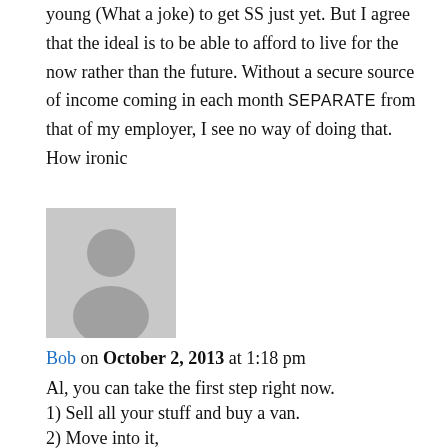young (What a joke) to get SS just yet. But I agree that the ideal is to be able to afford to live for the now rather than the future. Without a secure source of income coming in each month SEPARATE from that of my employer, I see no way of doing that. How ironic
[Figure (photo): Default avatar/placeholder image showing a gray silhouette of a person on a light gray background]
Bob on October 2, 2013 at 1:18 pm
Al, you can take the first step right now.
1) Sell all your stuff and buy a van.
2) Move into it,
3) Start paying yourself the rent or mortgage.
4) Save like a mad man!
5) Line up a summer job for next year as a campground